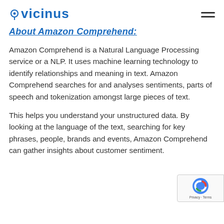vicinus
About Amazon Comprehend:
Amazon Comprehend is a Natural Language Processing service or a NLP. It uses machine learning technology to identify relationships and meaning in text. Amazon Comprehend searches for and analyses sentiments, parts of speech and tokenization amongst large pieces of text.
This helps you understand your unstructured data. By looking at the language of the text, searching for key phrases, people, brands and events, Amazon Comprehend can gather insights about customer sentiment.